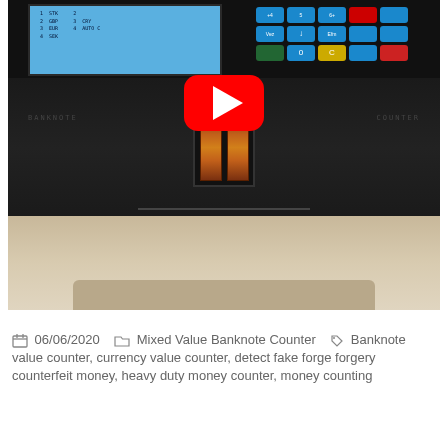[Figure (screenshot): YouTube video thumbnail/embed showing a mixed value banknote counter machine with a blue LCD screen, keypad with colored buttons, and a bill-reading slot in the center. A red YouTube play button overlay is visible in the center of the image.]
06/06/2020    Mixed Value Banknote Counter    Banknote value counter, currency value counter, detect fake forge forgery counterfeit money, heavy duty money counter, money counting